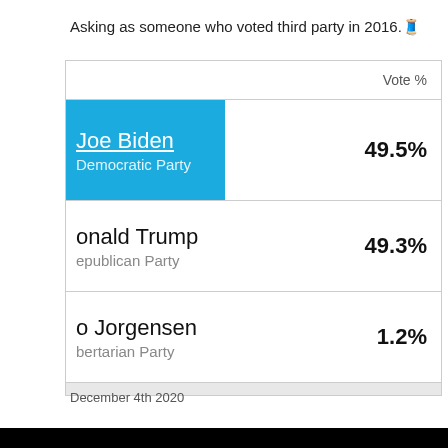Asking as someone who voted third party in 2016.🧵
|  | Vote % |
| --- | --- |
| Joe Biden
Democratic Party | 49.5% |
| Donald Trump
Republican Party | 49.3% |
| Jo Jorgensen
Libertarian Party | 1.2% |
December 4th 2020